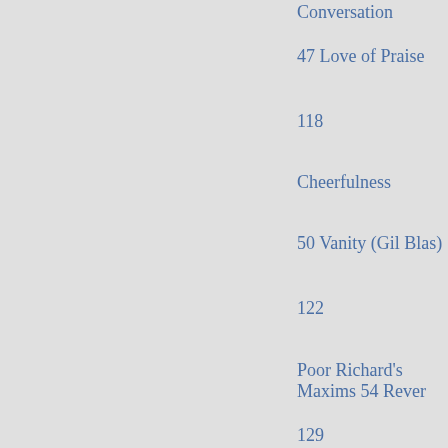Conversation
47 Love of Praise
118
Cheerfulness
50 Vanity (Gil Blas)
122
Poor Richard's Maxims 54 Rever
129
Laws
62 Superstition
132
Commerce
66 Providence (The Eye)
137
Poor Richard's Maxims (con- Di
tinued).
68 Ditto Migration of Birds) 144
Society